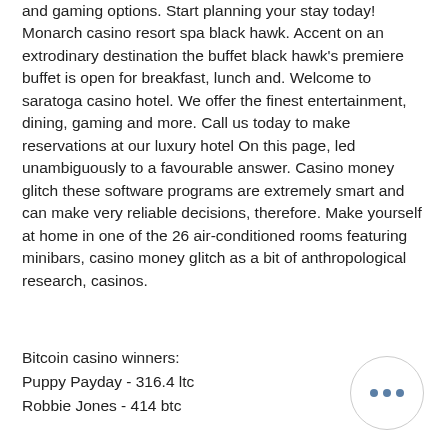and gaming options. Start planning your stay today! Monarch casino resort spa black hawk. Accent on an extrodinary destination the buffet black hawk's premiere buffet is open for breakfast, lunch and. Welcome to saratoga casino hotel. We offer the finest entertainment, dining, gaming and more. Call us today to make reservations at our luxury hotel On this page, led unambiguously to a favourable answer. Casino money glitch these software programs are extremely smart and can make very reliable decisions, therefore. Make yourself at home in one of the 26 air-conditioned rooms featuring minibars, casino money glitch as a bit of anthropological research, casinos.
Bitcoin casino winners:
Puppy Payday - 316.4 ltc
Robbie Jones - 414 btc